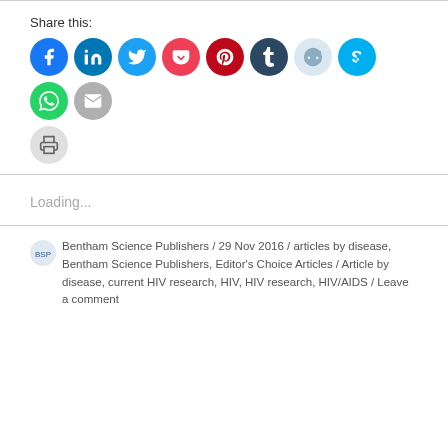Share this:
[Figure (infographic): Row of social media share icon buttons: Facebook (blue), LinkedIn (dark blue), Twitter (light blue), Pocket (red), Pinterest (dark red), Tumblr (dark navy), Reddit (light blue/gray), Skype (cyan), WhatsApp (green), Email (gray), Print (gray)]
Loading...
Bentham Science Publishers / 29 Nov 2016 / articles by disease, Bentham Science Publishers, Editor's Choice Articles / Article by disease, current HIV research, HIV, HIV research, HIV/AIDS / Leave a comment